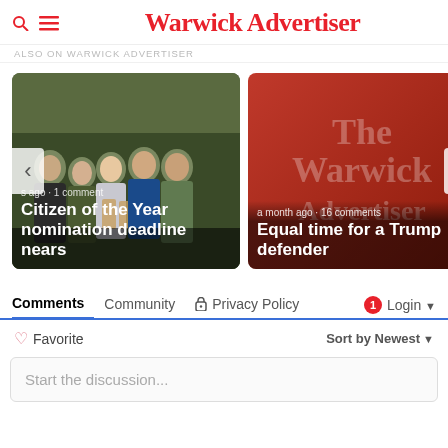Warwick Advertiser
ALSO ON WARWICK ADVERTISER
[Figure (photo): Carousel card: group of people holding plaques outdoors. Headline: Citizen of the Year nomination deadline nears. Meta: s ago · 1 comment]
[Figure (logo): Carousel card: red background with The Warwick Advertiser logo watermark. Headline: Equal time for a Trump defender. Meta: a month ago · 16 comments]
Comments  Community  🔒 Privacy Policy  1  Login ▾
♡ Favorite    Sort by Newest ▾
Start the discussion...